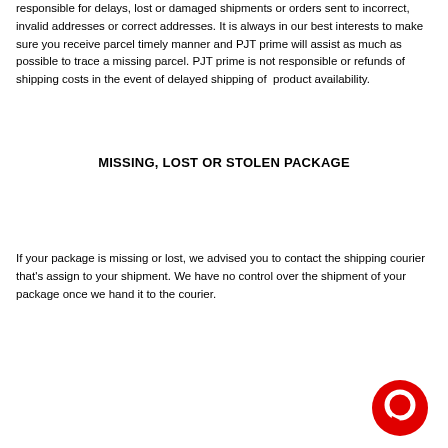responsible for delays, lost or damaged shipments or orders sent to incorrect, invalid addresses or correct addresses. It is always in our best interests to make sure you receive parcel timely manner and PJT prime will assist as much as possible to trace a missing parcel. PJT prime is not responsible or refunds of shipping costs in the event of delayed shipping of product availability.
MISSING, LOST OR STOLEN PACKAGE
If your package is missing or lost, we advised you to contact the shipping courier that's assign to your shipment. We have no control over the shipment of your package once we hand it to the courier.
[Figure (logo): Red circular chat bubble icon in the bottom right corner]